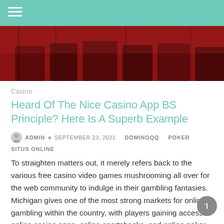[Figure (photo): Casino interior with red chairs/seats visible]
Casino
Heard Of The Nice Casino App BS Principle? Here Is A Superb Example
ADMIN  SEPTEMBER 23, 2021  DOMINOQQ  POKER  SITUS ONLINE
To straighten matters out, it merely refers back to the various free casino video games mushrooming all over for the web community to indulge in their gambling fantasies. Michigan gives one of the most strong markets for online gambling within the country, with players gaining access to online casino apps, online sportsbooks, and online poker [...]